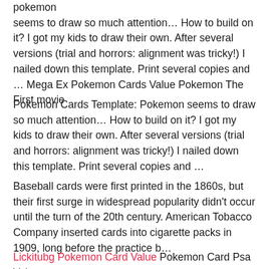pokemon seems to draw so much attention… How to build on it? I got my kids to draw their own. After several versions (trial and horrors: alignment was tricky!) I nailed down this template. Print several copies and … Mega Ex Pokemon Cards Value Pokemon The First movie
Pokemon Cards Template: Pokemon seems to draw so much attention… How to build on it? I got my kids to draw their own. After several versions (trial and horrors: alignment was tricky!) I nailed down this template. Print several copies and …
Baseball cards were first printed in the 1860s, but their first surge in widespread popularity didn't occur until the turn of the 20th century. American Tobacco Company inserted cards into cigarette packs in 1909, long before the practice b…
Lickitubg Pokemon Card Value Pokemon Card Psa Values